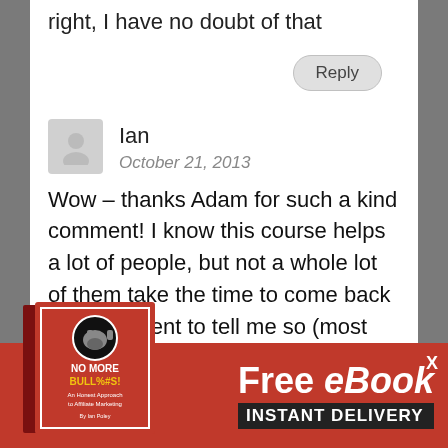right, I have no doubt of that
Reply
Ian
October 21, 2013
Wow – thanks Adam for such a kind comment! I know this course helps a lot of people, but not a whole lot of them take the time to come back and comment to tell me so (most just email me privately). Thank you so much for the public recommendation! can help with anything else, don't sitate to let me know!
[Figure (illustration): Red book cover with bull logo, titled 'NO MORE BULL%#S! An Honest Approach to Affiliate Marketing by Ian Poley']
Free eBook INSTANT DELIVERY
X